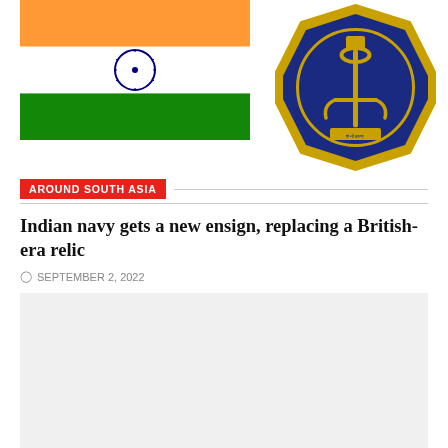[Figure (illustration): Indian national flag (top portion visible) on the left and Indian Navy emblem (blue octagonal badge with anchor and Ashoka Emblem) on the right]
AROUND SOUTH ASIA
Indian navy gets a new ensign, replacing a British-era relic
SEPTEMBER 2, 2022
[Figure (photo): Gray placeholder image area]